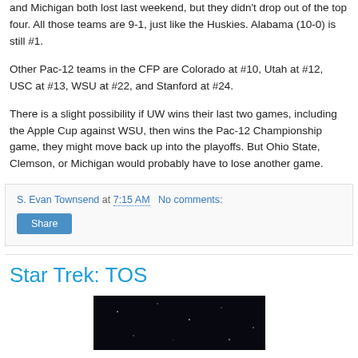and Michigan both lost last weekend, but they didn't drop out of the top four. All those teams are 9-1, just like the Huskies. Alabama (10-0) is still #1.
Other Pac-12 teams in the CFP are Colorado at #10, Utah at #12, USC at #13, WSU at #22, and Stanford at #24.
There is a slight possibility if UW wins their last two games, including the Apple Cup against WSU, then wins the Pac-12 Championship game, they might move back up into the playoffs. But Ohio State, Clemson, or Michigan would probably have to lose another game.
S. Evan Townsend at 7:15 AM   No comments:
Share
Star Trek: TOS
[Figure (photo): Dark/black image, appears to be a space scene screenshot from Star Trek: TOS]